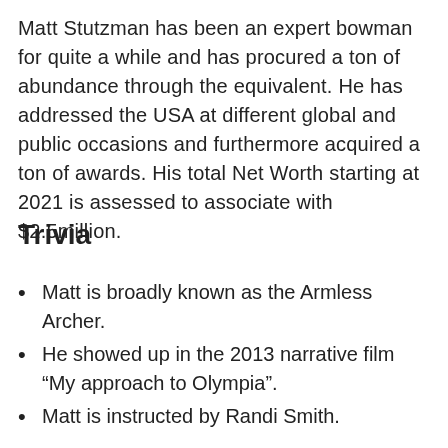Matt Stutzman has been an expert bowman for quite a while and has procured a ton of abundance through the equivalent. He has addressed the USA at different global and public occasions and furthermore acquired a ton of awards. His total Net Worth starting at 2021 is assessed to associate with $2.5million.
Trivia
Matt is broadly known as the Armless Archer.
He showed up in the 2013 narrative film “My approach to Olympia”.
Matt is instructed by Randi Smith.